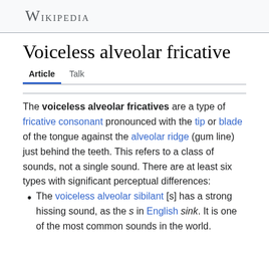Wikipedia
Voiceless alveolar fricative
Article  Talk
The voiceless alveolar fricatives are a type of fricative consonant pronounced with the tip or blade of the tongue against the alveolar ridge (gum line) just behind the teeth. This refers to a class of sounds, not a single sound. There are at least six types with significant perceptual differences:
The voiceless alveolar sibilant [s] has a strong hissing sound, as the s in English sink. It is one of the most common sounds in the world.